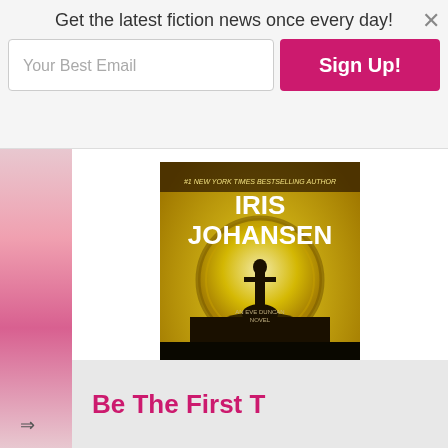Get the latest fiction news once every day!
Your Best Email
Sign Up!
[Figure (illustration): Book cover for 'A Face to Die For' by Iris Johansen, #1 New York Times Bestselling Author. An Eve Duncan Novel. Dark cover with silhouette of person standing in front of a glowing circular symbol on golden/yellow background.]
A Face to Die For
#28.0
Amazon.com | BN.com | Apple Books | Kobo | Google Play
Be The First T